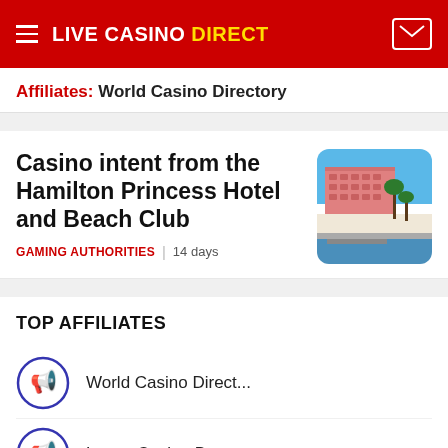LIVE CASINO DIRECT
Affiliates: World Casino Directory
Casino intent from the Hamilton Princess Hotel and Beach Club
GAMING AUTHORITIES | 14 days
[Figure (photo): Photo of the Hamilton Princess Hotel and Beach Club showing a pink multi-storey hotel building with palm trees by the waterfront under a blue sky]
TOP AFFILIATES
World Casino Direct...
Latest Casino Bonus...